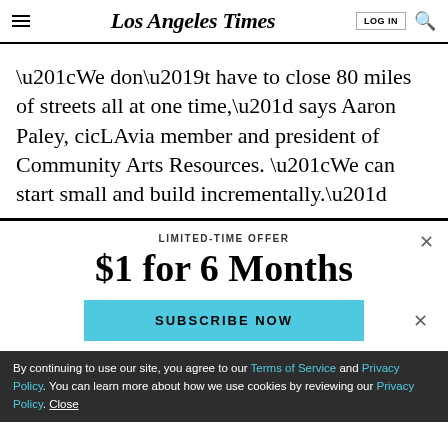Los Angeles Times
“We don’t have to close 80 miles of streets all at one time,” says Aaron Paley, cicLAvia member and president of Community Arts Resources. “We can start small and build incrementally.”
LIMITED-TIME OFFER
$1 for 6 Months
SUBSCRIBE NOW
By continuing to use our site, you agree to our Terms of Service and Privacy Policy. You can learn more about how we use cookies by reviewing our Privacy Policy. Close